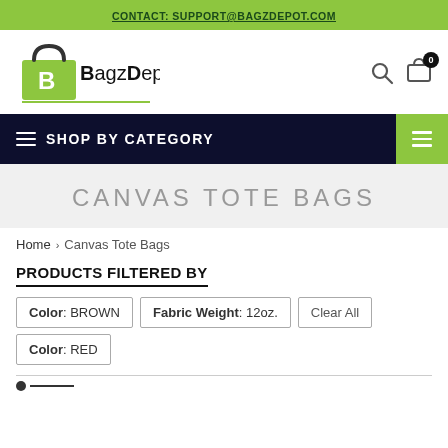CONTACT: SUPPORT@BAGZDEPOT.COM
[Figure (logo): BagzDepot logo — green shopping bag with letter B, text BagzDepot]
CANVAS TOTE BAGS
Home › Canvas Tote Bags
PRODUCTS FILTERED BY
Color: BROWN
Fabric Weight: 12oz.
Clear All
Color: RED